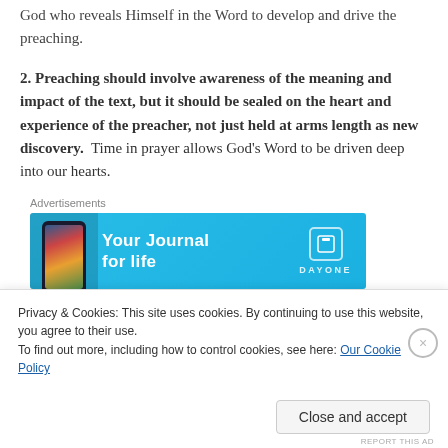God who reveals Himself in the Word to develop and drive the preaching.
2. Preaching should involve awareness of the meaning and impact of the text, but it should be sealed on the heart and experience of the preacher, not just held at arms length as new discovery.  Time in prayer allows God’s Word to be driven deep into our hearts.
Advertisements
[Figure (illustration): Day One app advertisement banner with blue background. Shows phone with app interface on left. Text reads 'Your Journal for life'. Day One logo on right.]
Privacy & Cookies: This site uses cookies. By continuing to use this website, you agree to their use.
To find out more, including how to control cookies, see here: Our Cookie Policy
Close and accept